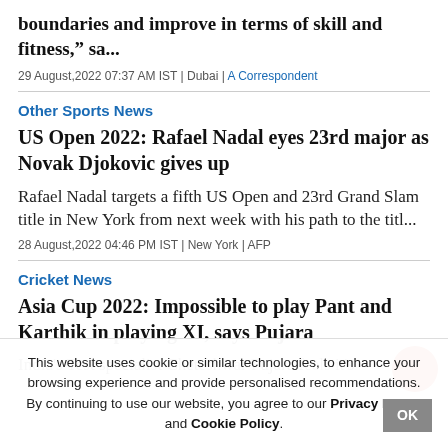boundaries and improve in terms of skill and fitness," sa...
29 August,2022 07:37 AM IST | Dubai | A Correspondent
Other Sports News
US Open 2022: Rafael Nadal eyes 23rd major as Novak Djokovic gives up
Rafael Nadal targets a fifth US Open and 23rd Grand Slam title in New York from next week with his path to the titl...
28 August,2022 04:46 PM IST | New York | AFP
Cricket News
Asia Cup 2022: Impossible to play Pant and Karthik in playing XI, says Pujara
India's Test specialist Cheteshwar Pujara feels it's
This website uses cookie or similar technologies, to enhance your browsing experience and provide personalised recommendations. By continuing to use our website, you agree to our Privacy Policy and Cookie Policy.